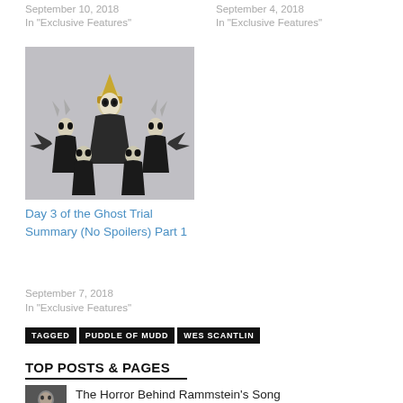September 10, 2018
In "Exclusive Features"
September 4, 2018
In "Exclusive Features"
[Figure (photo): Group photo of Ghost band members in dark costumes and masks with one member in gold papal hat]
Day 3 of the Ghost Trial Summary (No Spoilers) Part 1
September 7, 2018
In "Exclusive Features"
TAGGED  PUDDLE OF MUDD  WES SCANTLIN
TOP POSTS & PAGES
[Figure (photo): Small thumbnail photo of person]
The Horror Behind Rammstein's Song